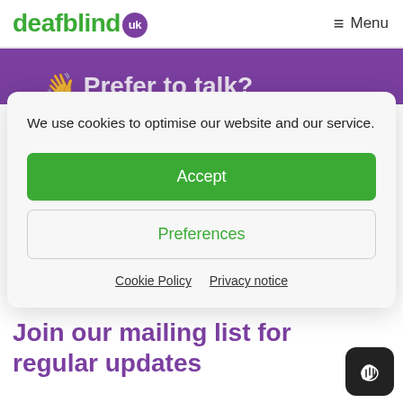deafblind uk  ≡ Menu
[Figure (screenshot): Purple banner strip with partial text 'Prefer to talk?' visible]
We use cookies to optimise our website and our service.
Accept
Preferences
Cookie Policy  Privacy notice
Join our mailing list for regular updates